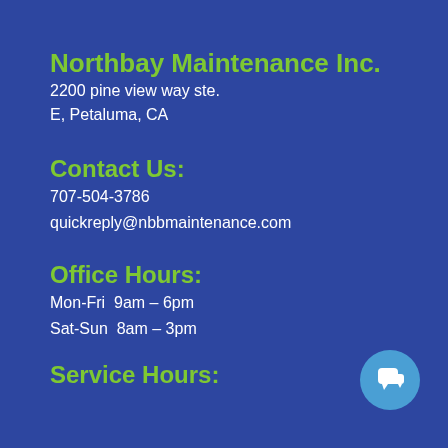Northbay Maintenance Inc.
2200 pine view way ste.
E, Petaluma, CA
Contact Us:
707-504-3786
quickreply@nbbmaintenance.com
Office Hours:
Mon-Fri  9am – 6pm
Sat-Sun  8am – 3pm
Service Hours: